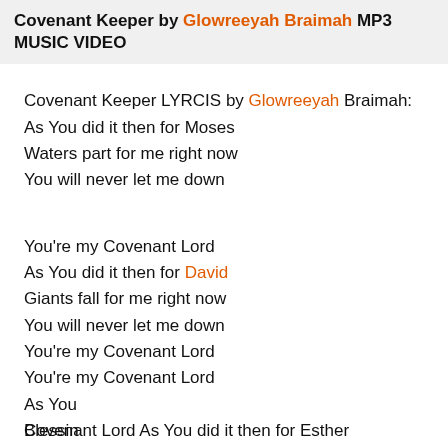Covenant Keeper by Glowreeyah Braimah MP3 MUSIC VIDEO
Covenant Keeper LYRCIS by Glowreeyah Braimah:
As You did it then for Moses
Waters part for me right now
You will never let me down
You're my Covenant Lord
As You did it then for David
Giants fall for me right now
You will never let me down
You're my Covenant Lord
You're my Covenant Lord
As Yo[u]
Blessin[gs]
You w[ill]
Covenant Lord As You did it then for Esther